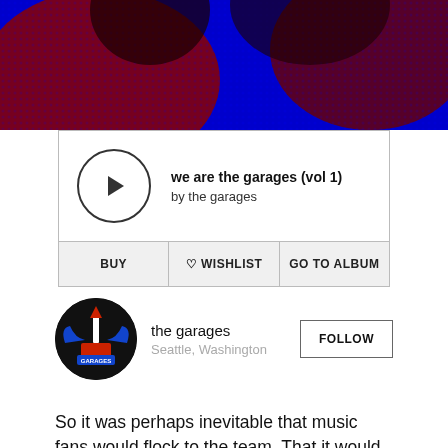[Figure (illustration): Album art with dark red and blue halftone/pop-art style background image, partially cropped at top]
we are the garages (vol 1)
by the garages
BUY | ♡ WISHLIST | GO TO ALBUM
[Figure (logo): The Garages band logo — circular black badge with a stylized space needle, wings, and red text 'THE GARAGES']
the garages
Seattle, Washington
FOLLOW
So it was perhaps inevitable that music fans would flock to the team. That it would net such an enormous coalition of grunge aficionados and